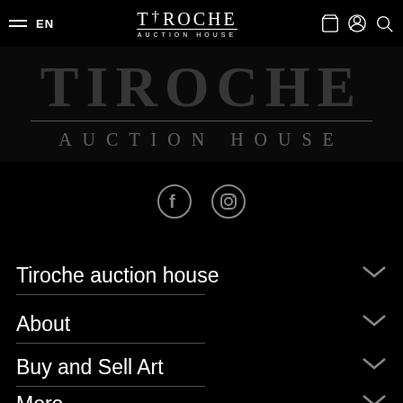EN  TIROCHE AUCTION HOUSE
[Figure (logo): Tiroche Auction House large ghost/watermark logo text with decorative horizontal lines and subtitle 'AUCTION HOUSE' in grey on black background]
[Figure (infographic): Social media icons: Facebook and Instagram circles on black background]
Tiroche auction house
About
Buy and Sell Art
More